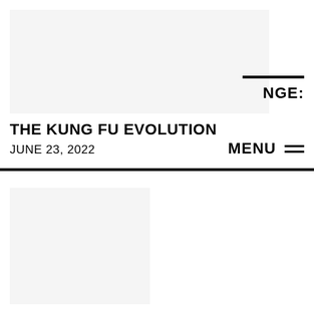[Figure (photo): Large light gray placeholder image in header area]
NGE:
THE KUNG FU EVOLUTION
JUNE 23, 2022
MENU ≡
[Figure (photo): Small light gray placeholder thumbnail image on left]
[Figure (photo): White/empty placeholder thumbnail image on right]